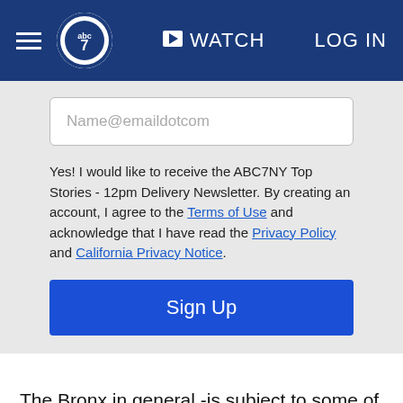abc7 WATCH LOG IN
Name@emaildotcom
Yes! I would like to receive the ABC7NY Top Stories - 12pm Delivery Newsletter. By creating an account, I agree to the Terms of Use and acknowledge that I have read the Privacy Policy and California Privacy Notice.
Sign Up
The Bronx in general -is subject to some of the most air pollution, leading to asthma affecting 13% of the borough's population, which is among the highest rates in the nation, and is the leading cause for school absenteeism and the reason behind many emergency